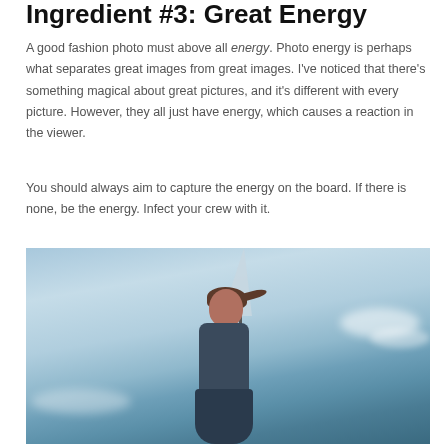Ingredient #3: Great Energy
A good fashion photo must above all energy. Photo energy is perhaps what separates great images from great images. I've noticed that there's something magical about great pictures, and it's different with every picture. However, they all just have energy, which causes a reaction in the viewer.
You should always aim to capture the energy on the board. If there is none, be the energy. Infect your crew with it.
[Figure (photo): Fashion photo of a woman outdoors against a dramatic blue sky. She has wind-blown hair and is wearing a dark outfit. In the background, a windsurfer sail is visible. The image conveys dynamic energy.]